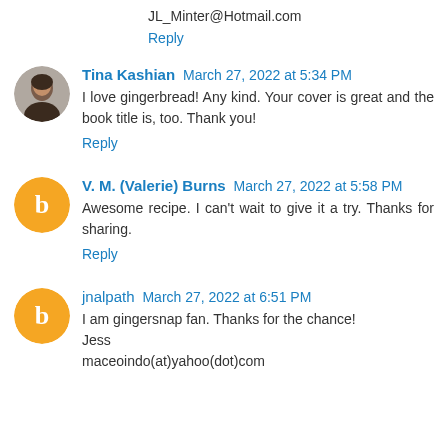JL_Minter@Hotmail.com
Reply
Tina Kashian March 27, 2022 at 5:34 PM
I love gingerbread! Any kind. Your cover is great and the book title is, too. Thank you!
Reply
V. M. (Valerie) Burns March 27, 2022 at 5:58 PM
Awesome recipe. I can't wait to give it a try. Thanks for sharing.
Reply
jnalpath March 27, 2022 at 6:51 PM
I am gingersnap fan. Thanks for the chance!
Jess
maceoindo(at)yahoo(dot)com